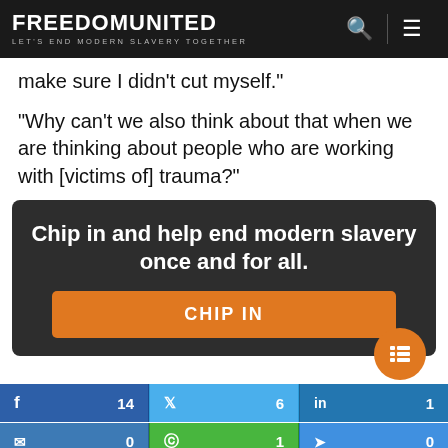FREEDOM UNITED — LET'S END MODERN SLAVERY TOGETHER
make sure I didn’t cut myself.”
“Why can’t we also think about that when we are thinking about people who are working with [victims of] trauma?”
[Figure (infographic): Dark call-to-action box with text 'Chip in and help end modern slavery once and for all.' and an orange CHIP IN button]
[Figure (infographic): Social sharing buttons row: Facebook (14), Twitter (6), LinkedIn (1), Email (0), WhatsApp (1), Messenger (0)]